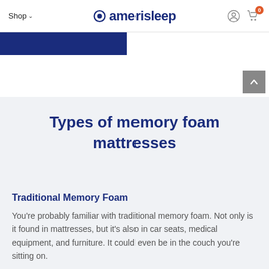Shop ∨  amerisleep
[Figure (screenshot): Partially visible blue banner/button element cut off at top]
[Figure (other): Gray scroll-to-top button with upward chevron arrow]
Types of memory foam mattresses
Traditional Memory Foam
You're probably familiar with traditional memory foam. Not only is it found in mattresses, but it's also in car seats, medical equipment, and furniture. It could even be in the couch you're sitting on.